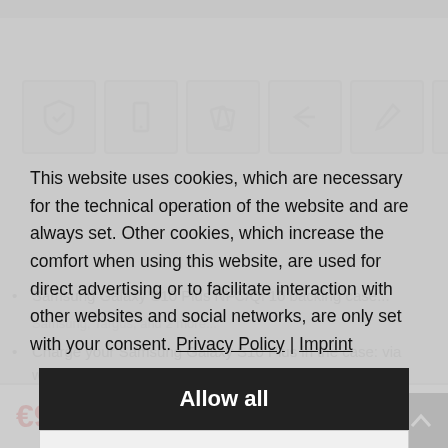[Figure (screenshot): Background of an e-commerce product page showing category icon navigation bar and greyed-out bullet list of product features, partially obscured by a cookie consent dialog overlay.]
This website uses cookies, which are necessary for the technical operation of the website and are always set. Other cookies, which increase the comfort when using this website, are used for direct advertising or to facilitate interaction with other websites and social networks, are only set with your consent. Privacy Policy | Imprint
Allow all
Decline all
Cookie preferences
€9.99 * UVP €24.99 *